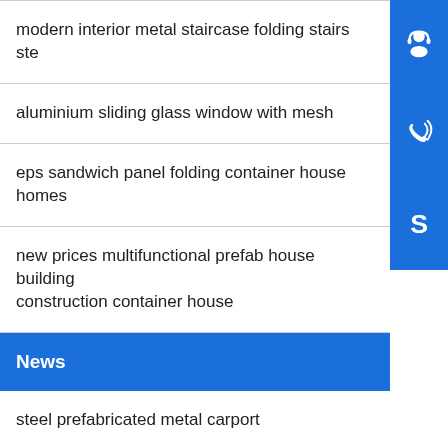modern interior metal staircase folding stairs ste
aluminium sliding glass window with mesh
eps sandwich panel folding container house homes
new prices multifunctional prefab house building construction container house
News
steel prefabricated metal carport
ool for steel construction materials
prefabricated insulated steel structure modern mod